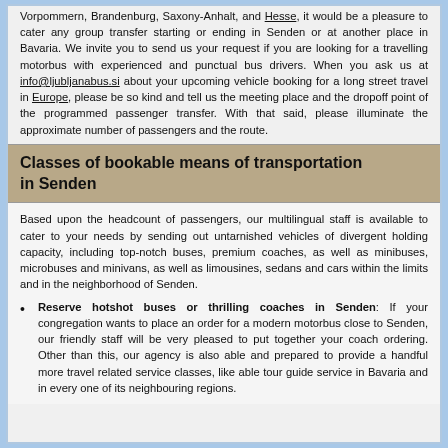Vorpommern, Brandenburg, Saxony-Anhalt, and Hesse, it would be a pleasure to cater any group transfer starting or ending in Senden or at another place in Bavaria. We invite you to send us your request if you are looking for a travelling motorbus with experienced and punctual bus drivers. When you ask us at info@ljubljanabus.si about your upcoming vehicle booking for a long street travel in Europe, please be so kind and tell us the meeting place and the dropoff point of the programmed passenger transfer. With that said, please illuminate the approximate number of passengers and the route.
Classes of bookable means of transportation in Senden
Based upon the headcount of passengers, our multilingual staff is available to cater to your needs by sending out untarnished vehicles of divergent holding capacity, including top-notch buses, premium coaches, as well as minibuses, microbuses and minivans, as well as limousines, sedans and cars within the limits and in the neighborhood of Senden.
Reserve hotshot buses or thrilling coaches in Senden: If your congregation wants to place an order for a modern motorbus close to Senden, our friendly staff will be very pleased to put together your coach ordering. Other than this, our agency is also able and prepared to provide a handful more travel related service classes, like able tour guide service in Bavaria and in every one of its neighbouring regions.